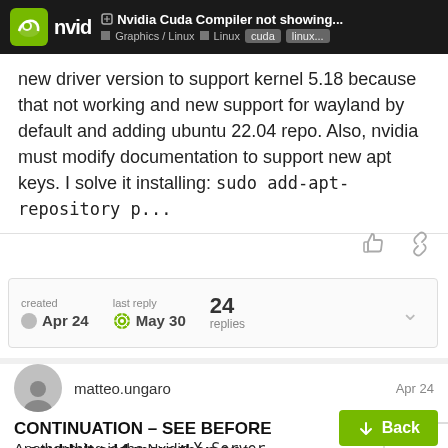Nvidia Cuda Compiler not showing... | Graphics / Linux | Linux | cuda | linux...
new driver version to support kernel 5.18 because that not working and new support for wayland by default and adding ubuntu 22.04 repo. Also, nvidia must modify documentation to support new apt keys. I solve it installing: sudo add-apt-repository p...
created Apr 24   last reply May 30   24 replies
matteo.ungaro   Apr 24
CONTINUATION – SEE BEFORE – couldn't add more than one media as new user
Another thing is the Nvidia X Server